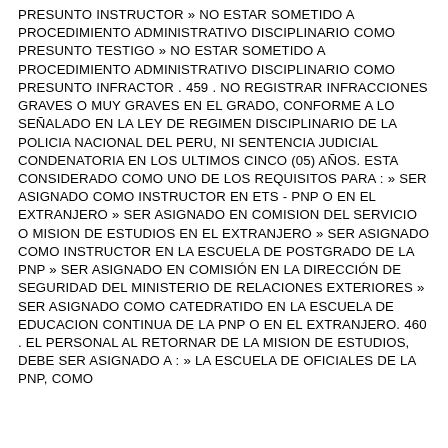PRESUNTO INSTRUCTOR » NO ESTAR SOMETIDO A PROCEDIMIENTO ADMINISTRATIVO DISCIPLINARIO COMO PRESUNTO TESTIGO » NO ESTAR SOMETIDO A PROCEDIMIENTO ADMINISTRATIVO DISCIPLINARIO COMO PRESUNTO INFRACTOR . 459 . NO REGISTRAR INFRACCIONES GRAVES O MUY GRAVES EN EL GRADO, CONFORME A LO SEÑALADO EN LA LEY DE REGIMEN DISCIPLINARIO DE LA POLICIA NACIONAL DEL PERU, NI SENTENCIA JUDICIAL CONDENATORIA EN LOS ULTIMOS CINCO (05) AÑOS. ESTA CONSIDERADO COMO UNO DE LOS REQUISITOS PARA : » SER ASIGNADO COMO INSTRUCTOR EN ETS - PNP O EN EL EXTRANJERO » SER ASIGNADO EN COMISION DEL SERVICIO O MISION DE ESTUDIOS EN EL EXTRANJERO » SER ASIGNADO COMO INSTRUCTOR EN LA ESCUELA DE POSTGRADO DE LA PNP » SER ASIGNADO EN COMISIÓN EN LA DIRECCIÓN DE SEGURIDAD DEL MINISTERIO DE RELACIONES EXTERIORES » SER ASIGNADO COMO CATEDRATIDO EN LA ESCUELA DE EDUCACION CONTINUA DE LA PNP O EN EL EXTRANJERO. 460 . EL PERSONAL AL RETORNAR DE LA MISION DE ESTUDIOS, DEBE SER ASIGNADO A : » LA ESCUELA DE OFICIALES DE LA PNP, COMO